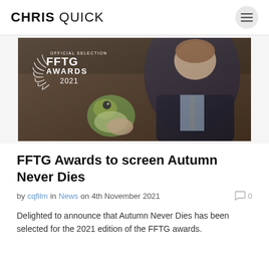CHRIS QUICK
[Figure (photo): Film still showing a man in a suit looking at a frog puppet, with FFTG Awards Official Selection 2021 laurel badge overlaid on the top left.]
FFTG Awards to screen Autumn Never Dies
by cqfilm in News on 4th November 2021   0
Delighted to announce that Autumn Never Dies has been selected for the 2021 edition of the FFTG awards.